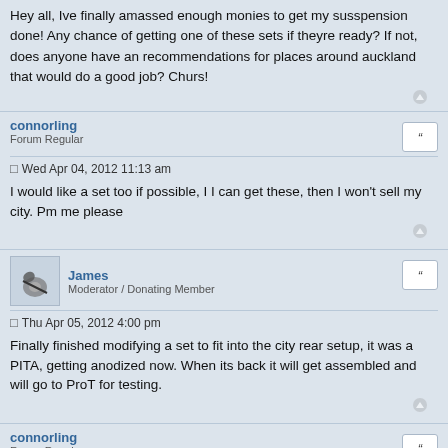Hey all, Ive finally amassed enough monies to get my susspension done! Any chance of getting one of these sets if theyre ready? If not, does anyone have an recommendations for places around auckland that would do a good job? Churs!
connorling
Forum Regular
Wed Apr 04, 2012 11:13 am
I would like a set too if possible, I I can get these, then I won't sell my city. Pm me please
James
Moderator / Donating Member
Thu Apr 05, 2012 4:00 pm
Finally finished modifying a set to fit into the city rear setup, it was a PITA, getting anodized now. When its back it will get assembled and will go to ProT for testing.
connorling
Forum Regular